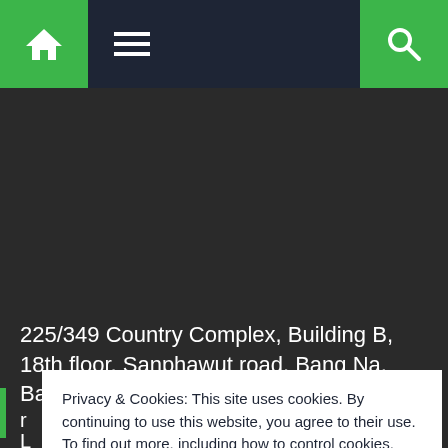[Figure (screenshot): Website navigation bar with green home icon button on left, hamburger menu icon in dark bar, and green search icon button on right]
225/349 Country Complex, Building B, 18th floor, Sanphawut road, Bang Na, Bangkok 10260, Thailand
Privacy & Cookies: This site uses cookies. By continuing to use this website, you agree to their use.
To find out more, including how to control cookies, see here:
Cookie Policy
Close and accept